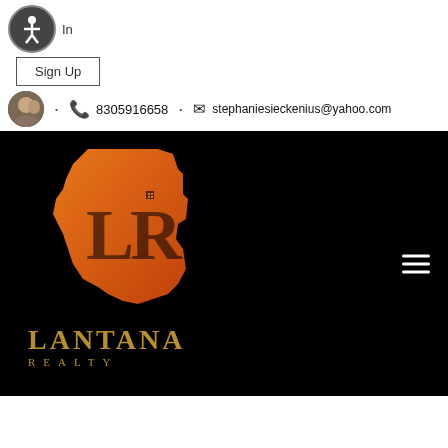[Figure (logo): Accessibility icon (wheelchair person in circle) with 'In' text and Sign Up button]
· 📞 8305916658 · ✉ stephaniesieckenius@yahoo.com
[Figure (logo): Lantana Realty logo with orange Texas state shape with LR monogram and gold text LANTANA REALTY on black background]